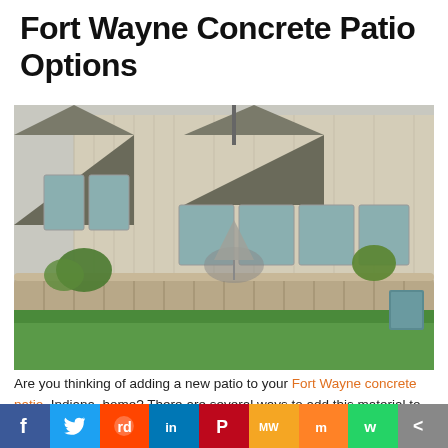Fort Wayne Concrete Patio Options
[Figure (photo): Photograph of a raised concrete/wood patio attached to a two-story beige house, with patio furniture, umbrella, potted plants, and a green lawn in the foreground.]
Are you thinking of adding a new patio to your Fort Wayne concrete patio, Indiana, home? There are several ways to add this material to your outdoor living space.